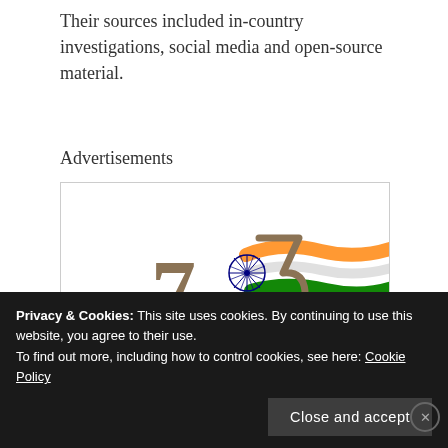Their sources included in-country investigations, social media and open-source material.
Advertisements
[Figure (logo): Azadi Ka Amrit Mahotsav logo — 75th anniversary of Indian independence, featuring the number 75 with Indian flag colors (saffron, white, green) and Ashoka Chakra, with Hindi text 'आज़ादी का']
Privacy & Cookies: This site uses cookies. By continuing to use this website, you agree to their use.
To find out more, including how to control cookies, see here: Cookie Policy
Close and accept